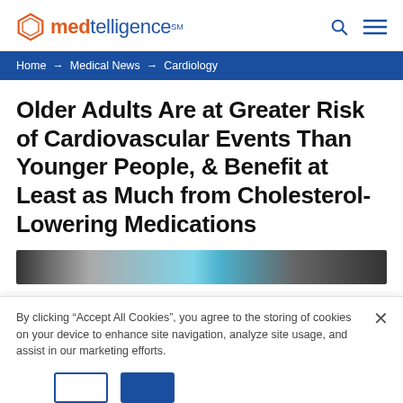medtelligence℠
Home → Medical News → Cardiology
Older Adults Are at Greater Risk of Cardiovascular Events Than Younger People, & Benefit at Least as Much from Cholesterol-Lowering Medications
[Figure (photo): Partial banner image strip at top of article, showing a dark-to-teal gradient, likely a medical/cardiology photo]
By clicking "Accept All Cookies", you agree to the storing of cookies on your device to enhance site navigation, analyze site usage, and assist in our marketing efforts.